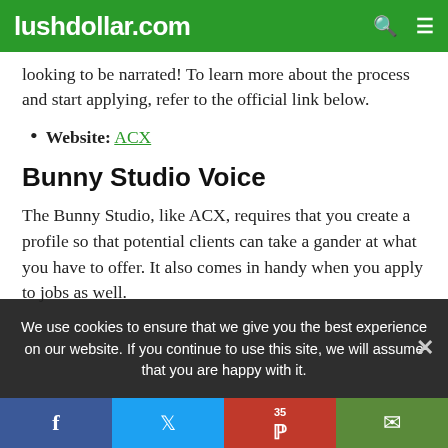lushdollar.com
looking to be narrated!  To learn more about the process and start applying, refer to the official link below.
Website:  ACX
Bunny Studio Voice
The Bunny Studio, like ACX, requires that you create a profile so that potential clients can take a gander at what you have to offer.  It also comes in handy when you apply to jobs as well.
We use cookies to ensure that we give you the best experience on our website. If you continue to use this site, we will assume that you are happy with it.